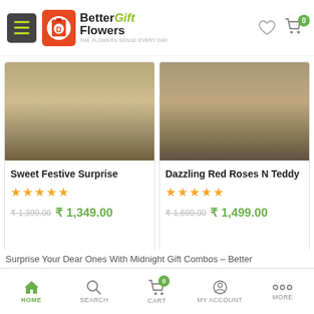[Figure (screenshot): Mobile e-commerce page header with hamburger menu, Better Flowers Gift logo, heart icon and shopping cart badge with 0]
Sweet Festive Surprise
★★★★★
₹ 1,399.00  ₹ 1,349.00
Dazzling Red Roses N Teddy
★★★★★
₹ 1,699.00  ₹ 1,499.00
[Figure (other): Loading spinner circle in light olive/green color]
Surprise Your Dear Ones With Midnight Gift Combos – Better
[Figure (other): Bottom navigation bar with HOME, SEARCH, CART (badge 0), MY ACCOUNT, MORE]